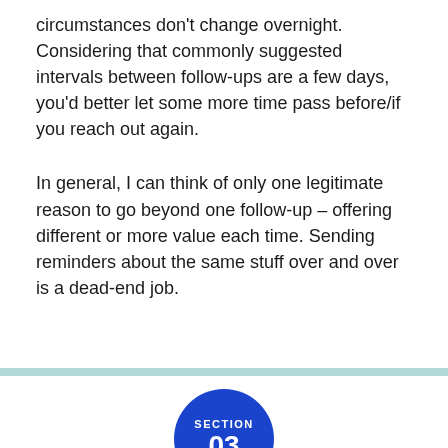circumstances don't change overnight. Considering that commonly suggested intervals between follow-ups are a few days, you'd better let some more time pass before/if you reach out again.
In general, I can think of only one legitimate reason to go beyond one follow-up – offering different or more value each time. Sending reminders about the same stuff over and over is a dead-end job.
[Figure (other): Blue circle with 'SECTION 03' text, partially visible at bottom of page, preceded by a light teal horizontal divider bar]